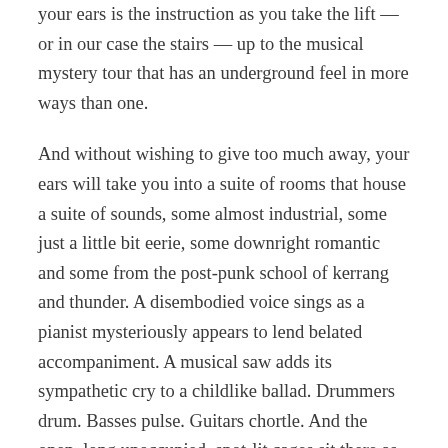your ears is the instruction as you take the lift — or in our case the stairs — up to the musical mystery tour that has an underground feel in more ways than one.
And without wishing to give too much away, your ears will take you into a suite of rooms that house a suite of sounds, some almost industrial, some just a little bit eerie, some downright romantic and some from the post-punk school of kerrang and thunder. A disembodied voice sings as a pianist mysteriously appears to lend belated accompaniment. A musical saw adds its sympathetic cry to a childlike ballad. Drummers drum. Basses pulse. Guitars chortle. And the open, long unoccupied, spot-lit cages sit there as if in accusation.